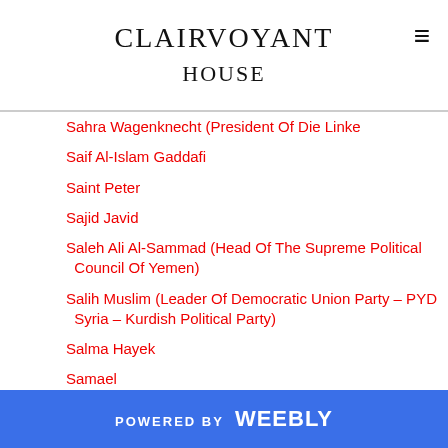CLAIRVOYANT HOUSE
Sahra Wagenknecht (President Of Die Linke
Saif Al-Islam Gaddafi
Saint Peter
Sajid Javid
Saleh Ali Al-Sammad (Head Of The Supreme Political Council Of Yemen)
Salih Muslim (Leader Of Democratic Union Party – PYD Syria – Kurdish Political Party)
Salma Hayek
Samael
Sam Gyimah
Samyaza
Sanofi-Aventis
Satan
Satellites
POWERED BY weebly